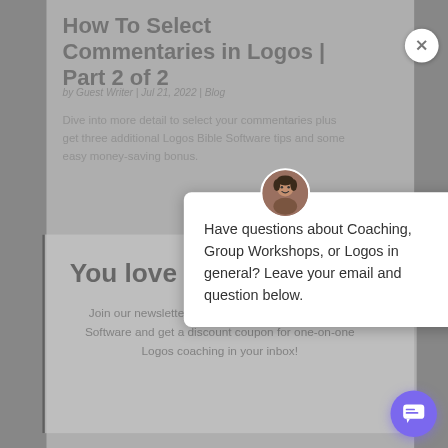How To Select Commentaries in Logos | Part 2 of 2
by Guest Writer | Jul 21, 2022 | Blog
Dive into more detail to select your commentaries plus get three additional Logos Bible Software tips and some easy money-saving bonus.
You love L
Join our newsletter c… all focused on Logos Bible Software and get a discount coupon for one-on-one Logos coaching in your inbox!
Have questions about Coaching, Group Workshops, or Logos in general? Leave your email and question below.